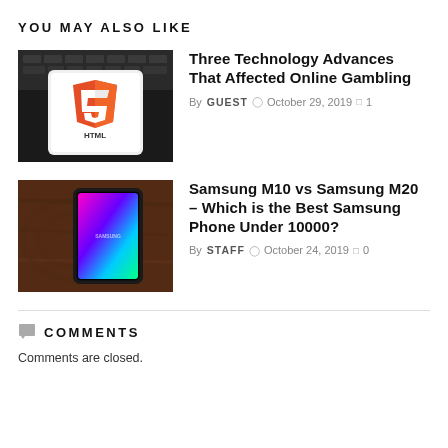YOU MAY ALSO LIKE
[Figure (photo): Smartphone displaying HTML5 logo on a laptop keyboard]
Three Technology Advances That Affected Online Gambling
By GUEST  October 29, 2019  1
[Figure (photo): Samsung smartphone on a wooden surface with colorful display]
Samsung M10 vs Samsung M20 – Which is the Best Samsung Phone Under 10000?
By STAFF  October 24, 2019  0
COMMENTS
Comments are closed.